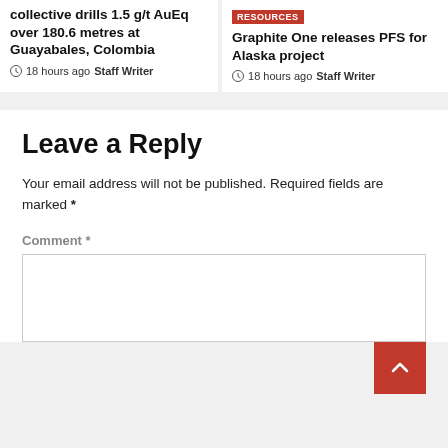collective drills 1.5 g/t AuEq over 180.6 metres at Guayabales, Colombia
18 hours ago  Staff Writer
RESOURCES
Graphite One releases PFS for Alaska project
18 hours ago  Staff Writer
Leave a Reply
Your email address will not be published. Required fields are marked *
Comment *